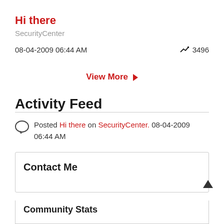Hi there
SecurityCenter
08-04-2009 06:44 AM  3496
View More
Activity Feed
Posted Hi there on SecurityCenter. 08-04-2009 06:44 AM
Contact Me
Community Stats